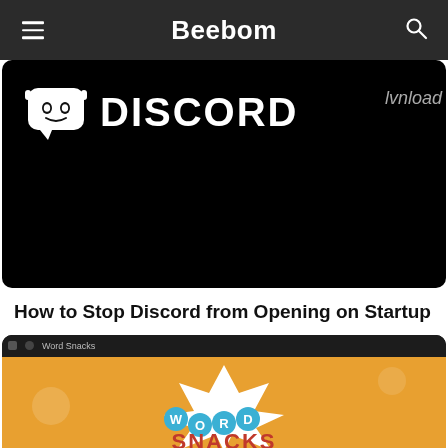Beebom
[Figure (screenshot): Discord logo on black background with partial text 'lvnload' on right edge]
How to Stop Discord from Opening on Startup
[Figure (screenshot): Word Snacks game screenshot on orange background showing the Word Snacks logo with colorful letters and cartoon character]